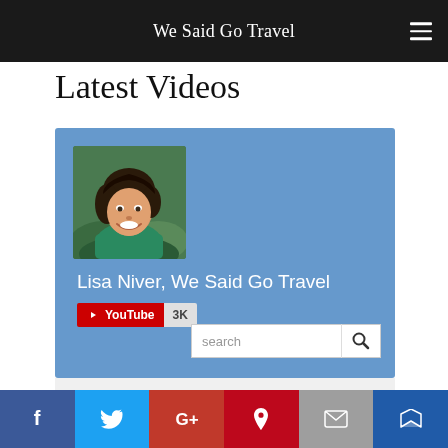We Said Go Travel
Latest Videos
[Figure (screenshot): YouTube channel profile card for Lisa Niver, We Said Go Travel on a blue background. Shows a profile photo of a smiling woman with dark hair wearing a green top, the channel name 'Lisa Niver, We Said Go Travel', a YouTube subscribe badge showing 3K subscribers, and a search bar with magnifying glass icon.]
Uploads
[Figure (infographic): Social media share bar with Facebook (blue), Twitter (light blue), Google+ (red), Pinterest (dark red), Email (gray), and Crown/Bloglovin (dark blue) buttons]